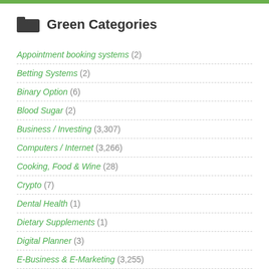Green Categories
Appointment booking systems (2)
Betting Systems (2)
Binary Option (6)
Blood Sugar (2)
Business / Investing (3,307)
Computers / Internet (3,266)
Cooking, Food & Wine (28)
Crypto (7)
Dental Health (1)
Dietary Supplements (1)
Digital Planner (3)
E-Business & E-Marketing (3,255)
Employment & Jobs (15)